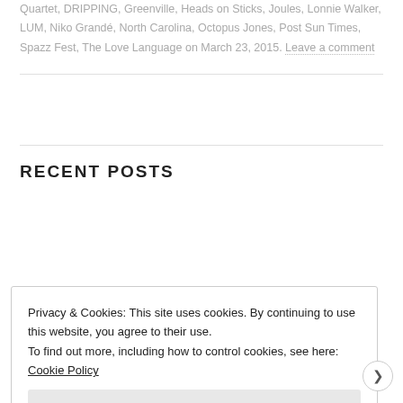Quartet, DRIPPING, Greenville, Heads on Sticks, Joules, Lonnie Walker, LUM, Niko Grandé, North Carolina, Octopus Jones, Post Sun Times, Spazz Fest, The Love Language on March 23, 2015. Leave a comment
RECENT POSTS
Privacy & Cookies: This site uses cookies. By continuing to use this website, you agree to their use.
To find out more, including how to control cookies, see here: Cookie Policy